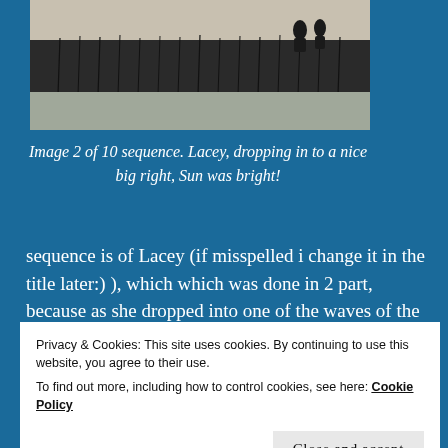[Figure (photo): Black and white photograph showing silhouettes of two people standing against a snowy or bright coastal landscape with reeds or grasses in the foreground.]
Image 2 of 10 sequence. Lacey, dropping in to a nice big right, Sun was bright!
sequence is of Lacey (if misspelled i change it in the title later:) ), which which was done in 2 part, because as she dropped into one of the waves of the day, I was shooting right into the Sun,  the camera had to time-out for 2 seconds after 6 shots, and then I
Privacy & Cookies: This site uses cookies. By continuing to use this website, you agree to their use.
To find out more, including how to control cookies, see here: Cookie Policy
[Figure (photo): Partial view of another photograph at the bottom of the page, appears to be a coastal/surfing scene in black and white.]